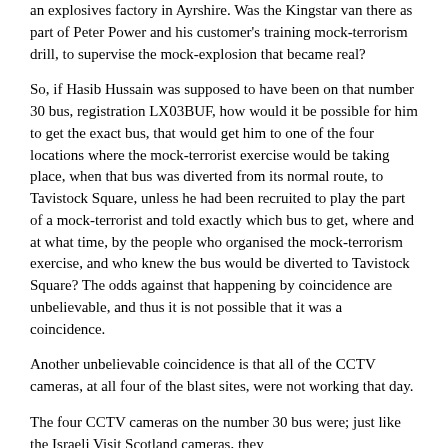an explosives factory in Ayrshire. Was the Kingstar van there as part of Peter Power and his customer's training mock-terrorism drill, to supervise the mock-explosion that became real?
So, if Hasib Hussain was supposed to have been on that number 30 bus, registration LX03BUF, how would it be possible for him to get the exact bus, that would get him to one of the four locations where the mock-terrorist exercise would be taking place, when that bus was diverted from its normal route, to Tavistock Square, unless he had been recruited to play the part of a mock-terrorist and told exactly which bus to get, where and at what time, by the people who organised the mock-terrorism exercise, and who knew the bus would be diverted to Tavistock Square? The odds against that happening by coincidence are unbelievable, and thus it is not possible that it was a coincidence.
Another unbelievable coincidence is that all of the CCTV cameras, at all four of the blast sites, were not working that day.
The four CCTV cameras on the number 30 bus were; just like the Israeli Visit Scotland cameras, they